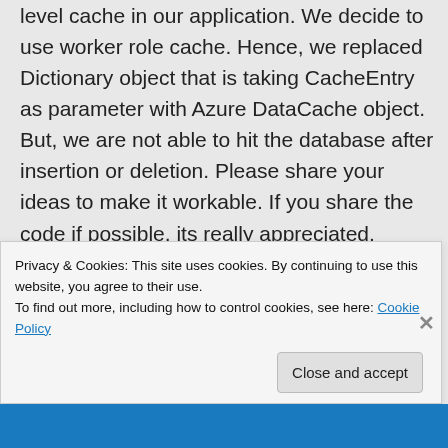level cache in our application. We decide to use worker role cache. Hence, we replaced Dictionary object that is taking CacheEntry as parameter with Azure DataCache object. But, we are not able to hit the database after insertion or deletion. Please share your ideas to make it workable. If you share the code if possible, its really appreciated.
★ Like
↪ Reply
Privacy & Cookies: This site uses cookies. By continuing to use this website, you agree to their use.
To find out more, including how to control cookies, see here: Cookie Policy
Close and accept